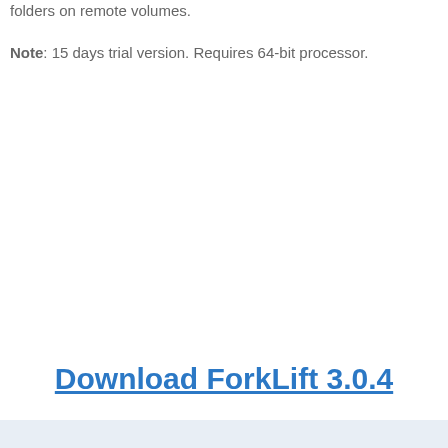folders on remote volumes.
Note: 15 days trial version. Requires 64-bit processor.
Download ForkLift 3.0.4